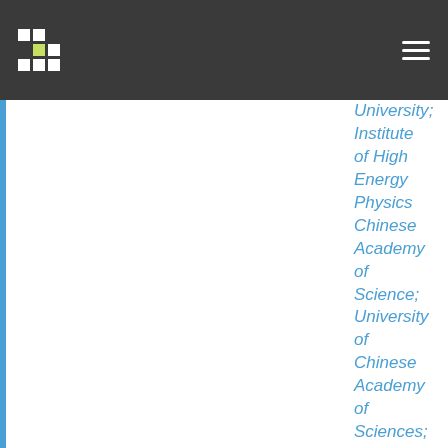University; Institute of High Energy Physics Chinese Academy of Science; University of Chinese Academy of Sciences; Yantai University; Guangzhou University; Tsinghua University; Sun Yat-Sen University; University of